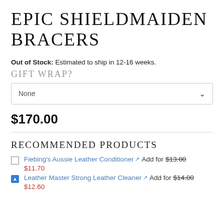EPIC SHIELDMAIDEN BRACERS
Out of Stock: Estimated to ship in 12-16 weeks.
GIFT WRAP?
None
$170.00
RECOMMENDED PRODUCTS
Fiebing's Aussie Leather Conditioner  Add for $13.00 $11.70
Leather Master Strong Leather Cleaner  Add for $14.00 $12.60